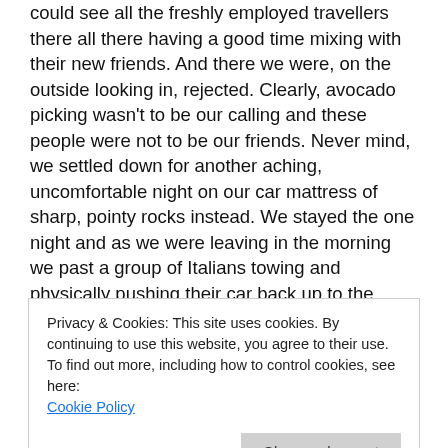could see all the freshly employed travellers there all there having a good time mixing with their new friends. And there we were, on the outside looking in, rejected. Clearly, avocado picking wasn't to be our calling and these people were not to be our friends. Never mind, we settled down for another aching, uncomfortable night on our car mattress of sharp, pointy rocks instead. We stayed the one night and as we were leaving in the morning we past a group of Italians towing and physically pushing their car back up to the campsite from the beach. Ha losers! They'd clearly broken down and I have to admit a small sliver of evil seeped to the surface and Tom and I chucked at their misfortune. 'Someone got a bit carried away didn't they!'.
Privacy & Cookies: This site uses cookies. By continuing to use this website, you agree to their use. To find out more, including how to control cookies, see here: Cookie Policy
time I was on a beach! There were no limitations, no other